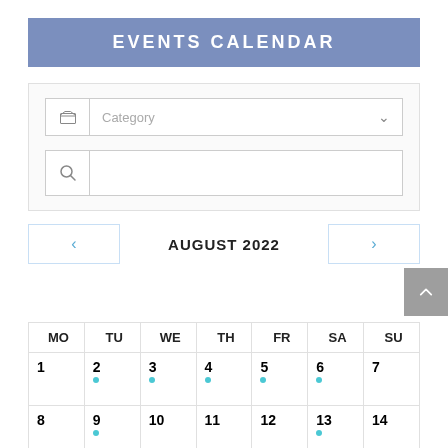EVENTS CALENDAR
[Figure (screenshot): Category dropdown filter with folder icon and chevron]
[Figure (screenshot): Search input field with magnifying glass icon]
AUGUST 2022
| MO | TU | WE | TH | FR | SA | SU |
| --- | --- | --- | --- | --- | --- | --- |
| 1 | 2 • | 3 • | 4 • | 5 • | 6 • | 7 |
| 8 | 9 • | 10 | 11 | 12 | 13 • | 14 |